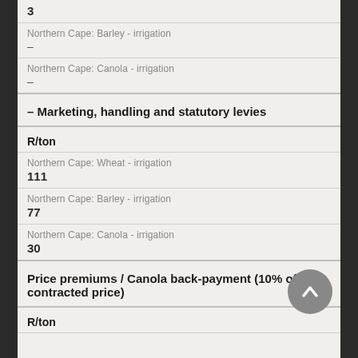3
Northern Cape: Barley - irrigation
–
Northern Cape: Canola - irrigation
–
– Marketing, handling and statutory levies
R/ton
Northern Cape: Wheat - irrigation
111
Northern Cape: Barley - irrigation
77
Northern Cape: Canola - irrigation
30
Price premiums / Canola back-payment (10% of contracted price)
R/ton